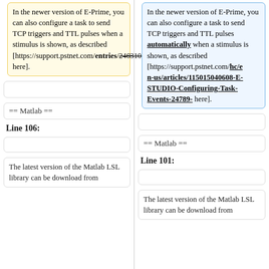In the newer version of E-Prime, you can also configure a task to send TCP triggers and TTL pulses when a stimulus is shown, as described [https://support.pstnet.com/entries/24631007 here]. (removed version)
In the newer version of E-Prime, you can also configure a task to send TCP triggers and TTL pulses automatically when a stimulus is shown, as described [https://support.pstnet.com/hc/en-us/articles/115015040608-E-STUDIO-Configuring-Task-Events-24789- here]. (added version)
== Matlab ==
== Matlab ==
Line 106:
Line 101:
The latest version of the Matlab LSL library can be download from
The latest version of the Matlab LSL library can be download from